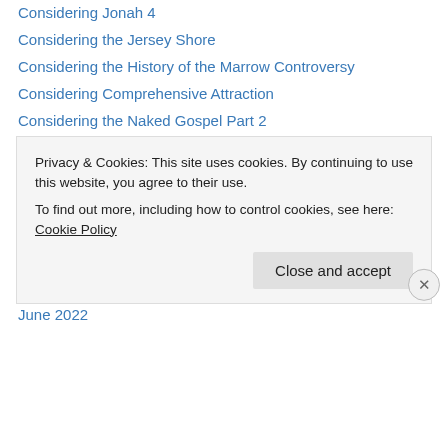Considering Jonah 4
Considering the Jersey Shore
Considering the History of the Marrow Controversy
Considering Comprehensive Attraction
Considering the Naked Gospel Part 2
The Endtimers
Archives
September 2022
August 2022
July 2022
June 2022
Privacy & Cookies: This site uses cookies. By continuing to use this website, you agree to their use.
To find out more, including how to control cookies, see here: Cookie Policy
Close and accept